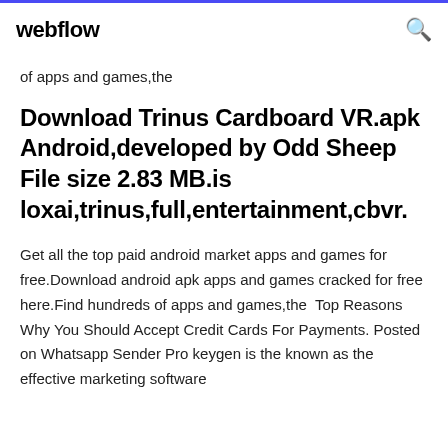webflow
of apps and games,the
Download Trinus Cardboard VR.apk Android,developed by Odd Sheep File size 2.83 MB.is loxai,trinus,full,entertainment,cbvr.
Get all the top paid android market apps and games for free.Download android apk apps and games cracked for free here.Find hundreds of apps and games,the  Top Reasons Why You Should Accept Credit Cards For Payments. Posted on Whatsapp Sender Pro keygen is the known as the effective marketing software